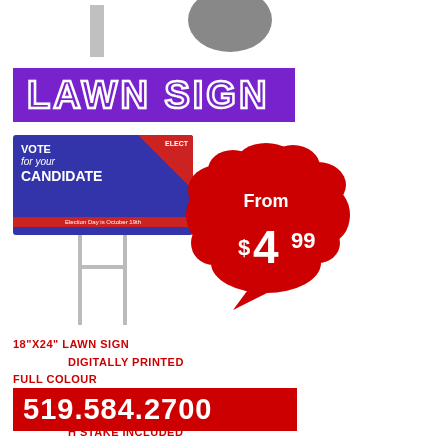[Figure (photo): Partially cropped image of a lawn sign stake and shape at the top of the page]
LAWN SIGN
[Figure (illustration): Illustration of a lawn sign reading VOTE for your CANDIDATE with H-stake, and a red cloud speech bubble showing From $4.99]
18"x24" LAWN SIGN
DIGITALLY PRINTED
FULL COLOUR
BOTH SIDES
4MM COROPLAST
H STAKE INCLUDED
519.584.2700